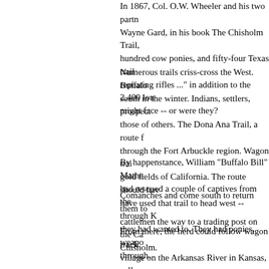In 1867, Col. O.W. Wheeler and his two partners... Wayne Gard, in his book The Chisholm Trail, hundred cow ponies, and fifty-four Texas trail repeating rifles ..." in addition to the 2,400 lon might face -- or were they?
Numerous trails criss-cross the West. Buffalo south in the winter. Indians, settlers, prospect those of others. The Dona Ana Trail, a route f through the Fort Arbuckle region. Wagon trai gold fields of California. The route should hav have used that trail to head west -- through K they had wanted to. They had ponies, weapo through.
By happenstance, William "Buffalo Bill" Mathe had rescued a couple of captives from the
Comanches and come south to return them to cattlemen the way to a trading post on the Ca Chisholm.
From there, the herd could follow wagon track village on the Arkansas River in Kansas, calle involvement in Civil War action farther south. Joseph G. McCoy had hired surveyors to mar
Don Worcester, in his book The Chisholm Tra planned to winter the cattle in Kansas, then d when they reached Abilene, his partners balk